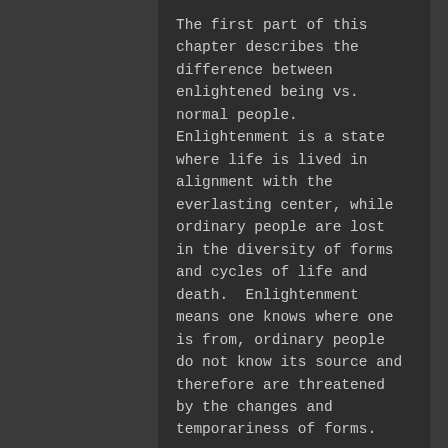The first part of this chapter describes the difference between enlightened being vs. normal people.  Enlightenment is a state where life is lived in alignment with the everlasting center, while ordinary people are lost in the diversity of forms and cycles of life and death.  Enlightenment means one knows where one is from, ordinary people do not know its source and therefore are threatened by the changes and temporariness of forms.
The second part of this chapter describes the process of Dao cultivation:  study and know about the center, which provides basis for true compassion, which when cultivated and expanded leads to impartiality, nobility, heavenly, and finally to the realization of the Dao.  How to proceed?  We learn about the center, cultivate respect and compassion, let go